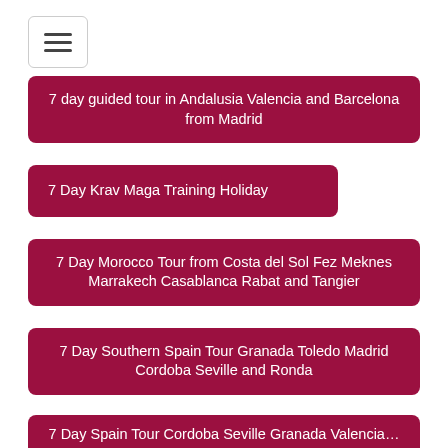[Figure (other): Hamburger menu button icon with three horizontal lines inside a rounded rectangle border]
7 day guided tour in Andalusia Valencia and Barcelona from Madrid
7 Day Krav Maga Training Holiday
7 Day Morocco Tour from Costa del Sol Fez Meknes Marrakech Casablanca Rabat and Tangier
7 Day Southern Spain Tour Granada Toledo Madrid Cordoba Seville and Ronda
7 Day Spain Tour Cordoba Seville Granada Valencia...